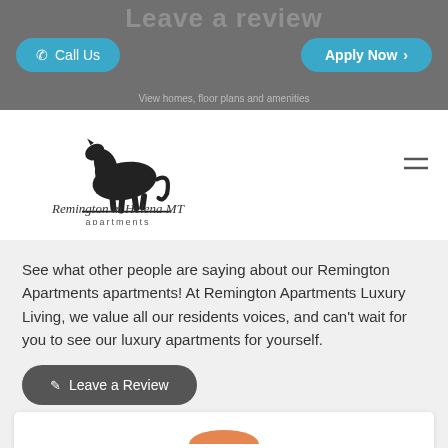Leave a review
[Figure (other): Call Us button (teal rounded) and Apply Now button (teal rounded) on dark gray banner]
See what other people are saying about our Remington Apartments apartments! At Remington Apartments Luxury Living, we value all our residents voices, and can't wait for you to see our luxury apartments for yourself.
[Figure (other): Leave a Review button (dark rounded)]
Sort by: Most Recent